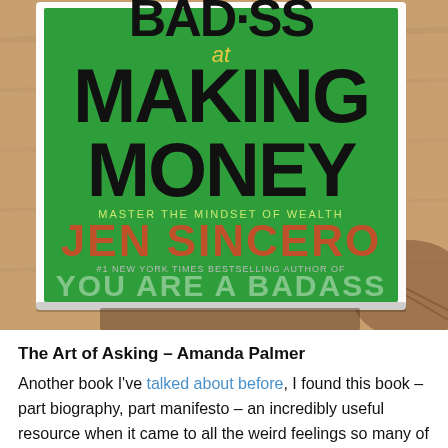[Figure (photo): Photo of a book titled 'You Are a Badass at Making Money: Master the Mindset of Wealth' by Jen Sincero, #1 New York Times Bestselling Author of You Are a Badass. The book has a green cover with bold black text and is resting on a wooden surface.]
The Art of Asking – Amanda Palmer
Another book I've talked about before, I found this book – part biography, part manifesto – an incredibly useful resource when it came to all the weird feelings so many of